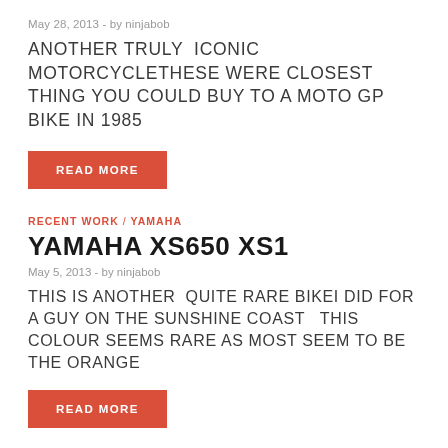May 28, 2013  -  by ninjabob
ANOTHER TRULY  ICONIC MOTORCYCLETHESE WERE CLOSEST THING YOU COULD BUY TO A MOTO GP BIKE IN 1985
READ MORE
RECENT WORK / YAMAHA
YAMAHA XS650 XS1
May 5, 2013  -  by ninjabob
THIS IS ANOTHER  QUITE RARE BIKEI DID FOR A GUY ON THE SUNSHINE COAST  THIS COLOUR SEEMS RARE AS MOST SEEM TO BE THE ORANGE
READ MORE